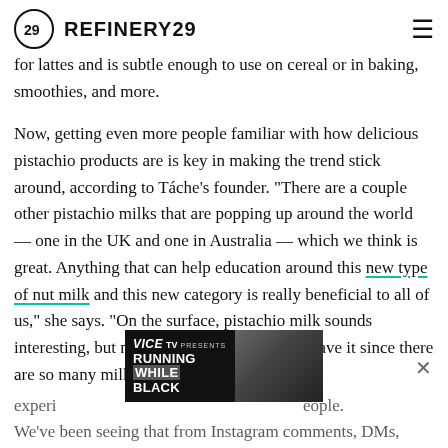REFINERY29
chocolate sauce for an extra-special treat. That's not to say for lattes and is subtle enough to use on cereal or in baking, smoothies, and more.
Now, getting even more people familiar with how delicious pistachio products are is key in making the trend stick around, according to Táche's founder. "There are a couple other pistachio milks that are popping up around the world — one in the UK and one in Australia — which we think is great. Anything that can help education around this new type of nut milk and this new category is really beneficial to all of us," she says. "On the surface, pistachio milk sounds interesting, but maybe you could take it or leave it since there are so many milks out there. Once it's experienced. people. We've been seeing that from Instagram comments, DMs,
[Figure (screenshot): VICE TV PRESENTS RUNNING WHILE BLACK advertisement overlay with person in background]